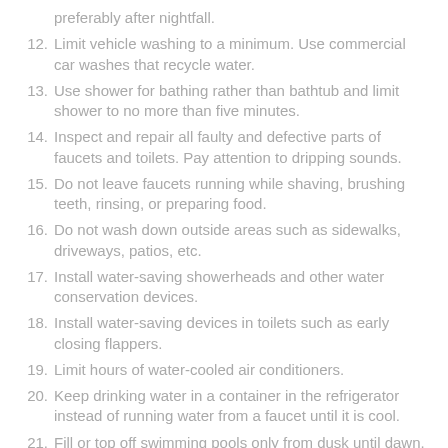preferably after nightfall.
12. Limit vehicle washing to a minimum. Use commercial car washes that recycle water.
13. Use shower for bathing rather than bathtub and limit shower to no more than five minutes.
14. Inspect and repair all faulty and defective parts of faucets and toilets. Pay attention to dripping sounds.
15. Do not leave faucets running while shaving, brushing teeth, rinsing, or preparing food.
16. Do not wash down outside areas such as sidewalks, driveways, patios, etc.
17. Install water-saving showerheads and other water conservation devices.
18. Install water-saving devices in toilets such as early closing flappers.
19. Limit hours of water-cooled air conditioners.
20. Keep drinking water in a container in the refrigerator instead of running water from a faucet until it is cool.
21. Fill or top off swimming pools only from dusk until dawn.
22. Cover pool and spas when not in use to prevent